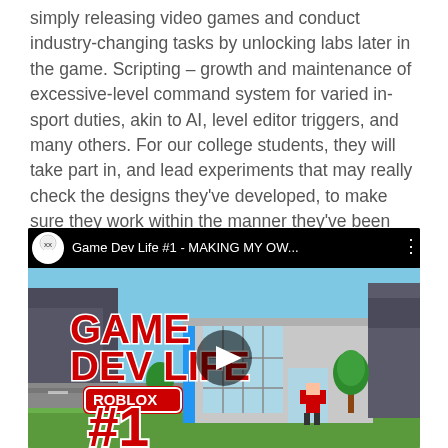simply releasing video games and conduct industry-changing tasks by unlocking labs later in the game. Scripting – growth and maintenance of excessive-level command system for varied in-sport duties, akin to AI, level editor triggers, and many others. For our college students, they will take part in, and lead experiments that may really check the designs they've developed, to make sure they work within the manner they've been designed to work.
[Figure (screenshot): YouTube video thumbnail/player for 'Game Dev Life #1 - MAKING MY OW...' showing a Roblox game scene with GAME DEV LIFE logo, ROBLOX branding, building exterior, character, and play button. Red and white '#1' text visible at bottom.]